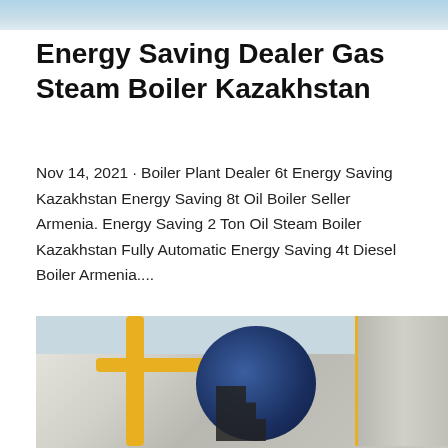[Figure (photo): Top portion of an industrial boiler or equipment image, partially cropped at top of page]
Energy Saving Dealer Gas Steam Boiler Kazakhstan
Nov 14, 2021 · Boiler Plant Dealer 6t Energy Saving Kazakhstan Energy Saving 8t Oil Boiler Seller Armenia. Energy Saving 2 Ton Oil Steam Boiler Kazakhstan Fully Automatic Energy Saving 4t Diesel Boiler Armenia....
Get Price
[Figure (photo): Industrial boiler room with yellow pipes, large blue circular boiler with stairs, and equipment on the right side]